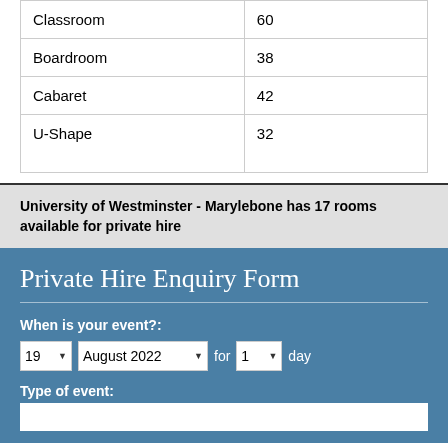| Layout | Capacity |
| --- | --- |
| Classroom | 60 |
| Boardroom | 38 |
| Cabaret | 42 |
| U-Shape | 32 |
University of Westminster - Marylebone has 17 rooms available for private hire
Private Hire Enquiry Form
When is your event?: 19 August 2022 for 1 day
Type of event: